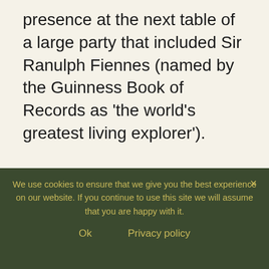presence at the next table of a large party that included Sir Ranulph Fiennes (named by the Guinness Book of Records as ‘the world’s greatest living explorer’).
Leave a Reply
Your email address will not be published. Required fields are marked *
We use cookies to ensure that we give you the best experience on our website. If you continue to use this site we will assume that you are happy with it.
Ok    Privacy policy